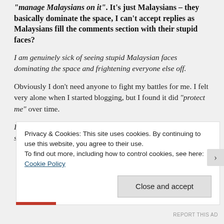"manage Malaysians on it". It's just Malaysians – they basically dominate the space, I can't accept replies as Malaysians fill the comments section with their stupid faces?
I am genuinely sick of seeing stupid Malaysian faces dominating the space and frightening everyone else off.
Obviously I don't need anyone to fight my battles for me. I felt very alone when I started blogging, but I found it did "protect me" over time.
I wasn't asking for legal funds, or a big campaign when I started
Privacy & Cookies: This site uses cookies. By continuing to use this website, you agree to their use.
To find out more, including how to control cookies, see here: Cookie Policy